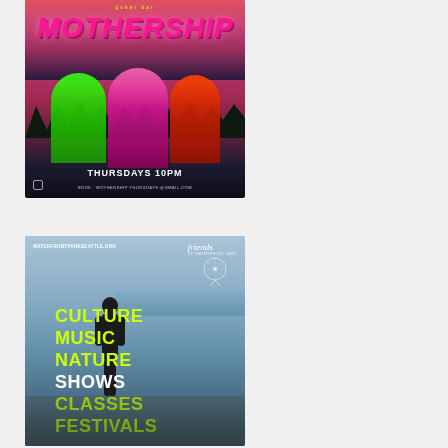[Figure (photo): Promotional poster for Mothership queer bar event. Features the text 'queer bar' at top in green, 'MOTHERSHIP' in large pink neon-style text, three drag performers in elaborate costumes against a dramatic red/purple sky with dark forest silhouette, text 'THURSDAYS 10PM' and booking website at the bottom.]
[Figure (photo): Promotional image for Waterfront Park Seattle. Shows two people on an outdoor stage with a crowd and ferris wheel in background, Seattle waterfront visible. Overlaid text reads 'CULTURE', 'MUSIC', 'NATURE', 'SHOWS', 'CLASSES', 'FESTIVALS' in yellow-green and white bold font. URL 'WATERFRONTPARKSEATTLE.ORG' and 'friends' logo at top.]